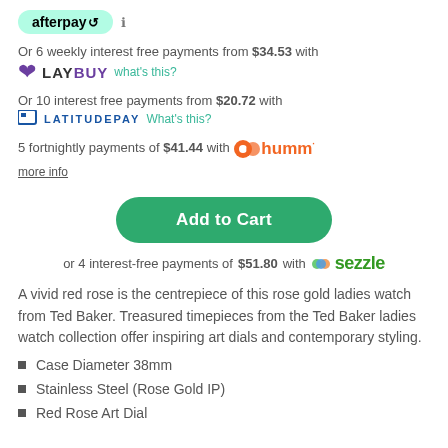[Figure (logo): Afterpay logo badge in mint green with arrows icon]
Or 6 weekly interest free payments from $34.53 with
[Figure (logo): Laybuy logo with purple heart and bold text LAY BUY, with what's this? link]
Or 10 interest free payments from $20.72 with
[Figure (logo): LatitudePay logo with bracket icon and LATITUDE PAY text, with What's this? link]
5 fortnightly payments of $41.44 with humm
more info
Add to Cart
or 4 interest-free payments of $51.80 with sezzle
A vivid red rose is the centrepiece of this rose gold ladies watch from Ted Baker. Treasured timepieces from the Ted Baker ladies watch collection offer inspiring art dials and contemporary styling.
Case Diameter 38mm
Stainless Steel (Rose Gold IP)
Red Rose Art Dial